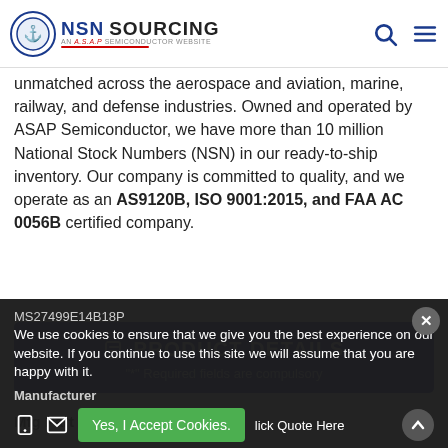NSN SOURCING — AN A.S.A.P SEMICONDUCTOR WEBSITE
unmatched across the aerospace and aviation, marine, railway, and defense industries. Owned and operated by ASAP Semiconductor, we have more than 10 million National Stock Numbers (NSN) in our ready-to-ship inventory. Our company is committed to quality, and we operate as an AS9120B, ISO 9001:2015, and FAA AC 0056B certified company.
PRODUCT DETAILS
"*" Required fields are compulsory
Mfg Part Number *
MS27499E14B18P
Manufacturer
We use cookies to ensure that we give you the best experience on our website. If you continue to use this site we will assume that you are happy with it.
Yes, I Accept Cookies.